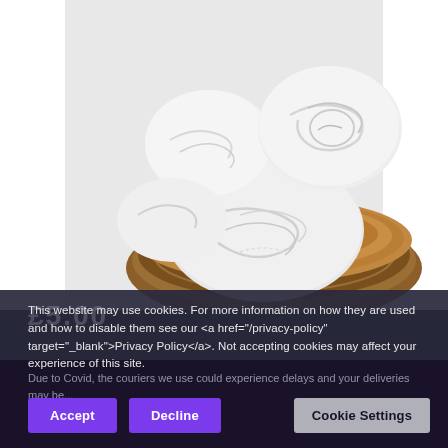[Figure (photo): Product photo showing several white/translucent polished shell or selenite palm stones arranged on a round wooden slice (cross-section of a tree trunk). The stones are smooth and oval-shaped with swirling white patterns. The background is light grey/white.]
This website may use cookies. For more information on how they are used and how to disable them see our <a href="/privacy-policy" target="_blank">Privacy Policy</a>. Not accepting cookies may affect your experience of this site.
Due to Covid, the couriers we use could experience delays and your deliveries may be...